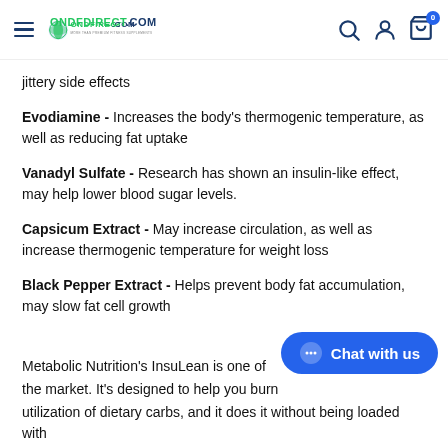ONDFIRECT.COM - navigation header with logo, search, account, and cart icons
jittery side effects
Evodiamine - Increases the body's thermogenic temperature, as well as reducing fat uptake
Vanadyl Sulfate - Research has shown an insulin-like effect, may help lower blood sugar levels.
Capsicum Extract - May increase circulation, as well as increase thermogenic temperature for weight loss
Black Pepper Extract - Helps prevent body fat accumulation, may slow fat cell growth
Metabolic Nutrition's InsuLean is one of the market. It's designed to help you burn utilization of dietary carbs, and it does it without being loaded with